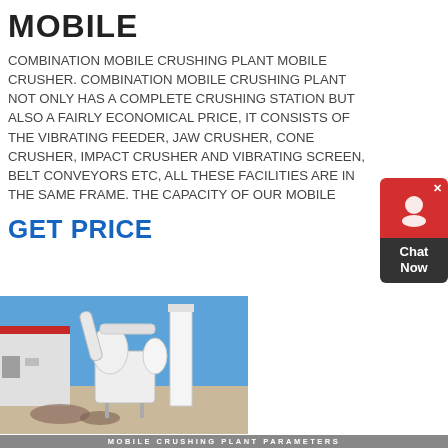MOBILE
COMBINATION MOBILE CRUSHING PLANT MOBILE CRUSHER. COMBINATION MOBILE CRUSHING PLANT NOT ONLY HAS A COMPLETE CRUSHING STATION BUT ALSO A FAIRLY ECONOMICAL PRICE, IT CONSISTS OF THE VIBRATING FEEDER, JAW CRUSHER, CONE CRUSHER, IMPACT CRUSHER AND VIBRATING SCREEN, BELT CONVEYORS ETC, ALL THESE FACILITIES ARE IN THE SAME FRAME. THE CAPACITY OF OUR MOBILE
GET PRICE
[Figure (photo): Industrial milling/grinding plant machinery — white metal structures, pipes, cyclones and silos against a blue sky, with a warehouse building visible on the left side and rubble on the ground.]
MOBILE CRUSHING PLANT PARAMETERS